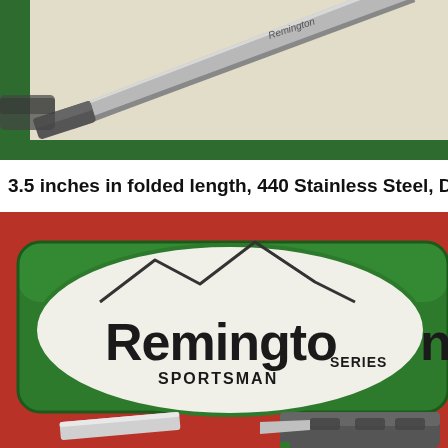[Figure (photo): Close-up photo of a Remington folding knife with stainless steel blade on a cream/off-white surface with green border. The blade is partially open and the Remington brand name is etched on the blade.]
3.5 inches in folded length, 440 Stainless Steel, Durable Non slip
[Figure (photo): Photo of a green Remington Sportsman Series tin/case on a red background. The tin has a white oval label with mountain graphic and reads 'Remington SPORTSMAN SERIES'. A folding knife is partially visible at the bottom right.]